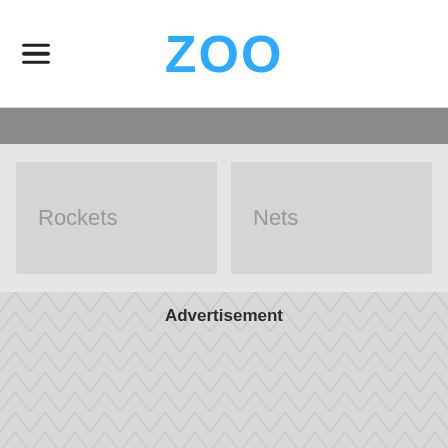ZOO
Rockets
Nets
Advertisement